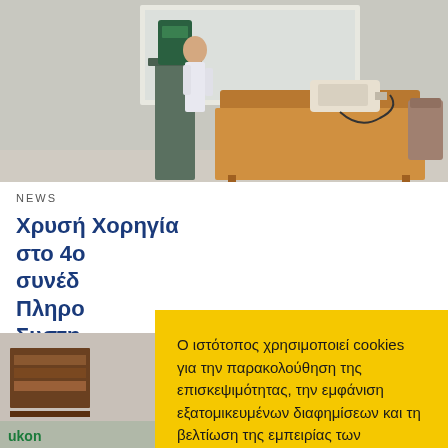[Figure (photo): Conference room photo showing a speaker at a podium with a table covered by an orange tablecloth, a projector on the table, and a presentation screen in the background.]
NEWS
Χρυσή Χορηγία στο 4ο συνέδ... Πληρο... Συστη...
[Figure (photo): Bottom left photo showing shelving/display unit with green brand label 'ukon']
Ο ιστότοπος χρησιμοποιεί cookies για την παρακολούθηση της επισκεψιμότητας, την εμφάνιση εξατομικευμένων διαφημίσεων και τη βελτίωση της εμπειρίας των χρηστών. Διαβάστε περισσότερα στους Πολιτική Προστασίας
ΑΠΟΔΟΧΗ
ΑΠΟΡΡΙΨΗ